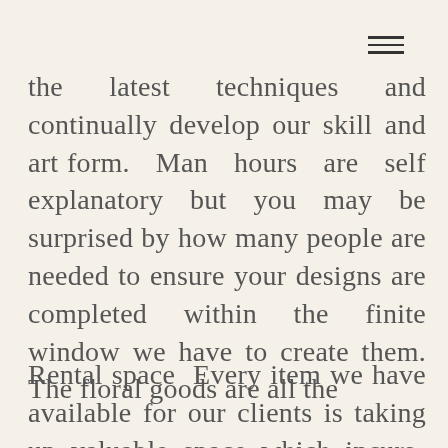menu icon
the latest techniques and continually develop our skill and art form. Man hours are self explanatory but you may be surprised by how many people are needed to ensure your designs are completed within the finite window we have to create them. The floral goods are all the
Rental space Every item we have available for our clients is taking up valuable space which incurs